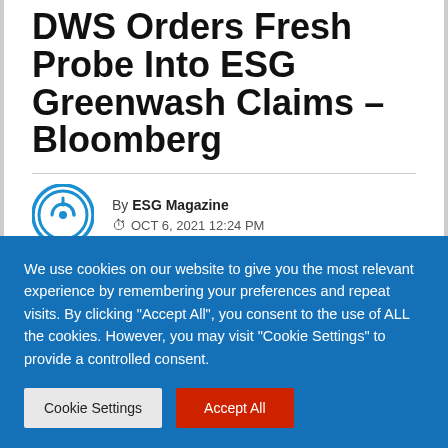DWS Orders Fresh Probe Into ESG Greenwash Claims – Bloomberg
By ESG Magazine
OCT 6, 2021 12:24 PM
We use cookies on our website to give you the most relevant experience by remembering your preferences and repeat visits. By clicking "Accept All", you consent to the use of ALL the cookies. However, you may visit "Cookie Settings" to provide a controlled consent.